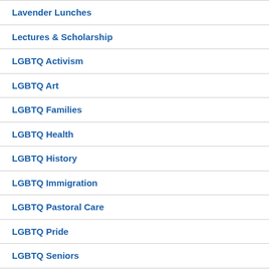Lavender Lunches
Lectures & Scholarship
LGBTQ Activism
LGBTQ Art
LGBTQ Families
LGBTQ Health
LGBTQ History
LGBTQ Immigration
LGBTQ Pastoral Care
LGBTQ Pride
LGBTQ Seniors
LGBTQ Spirituality